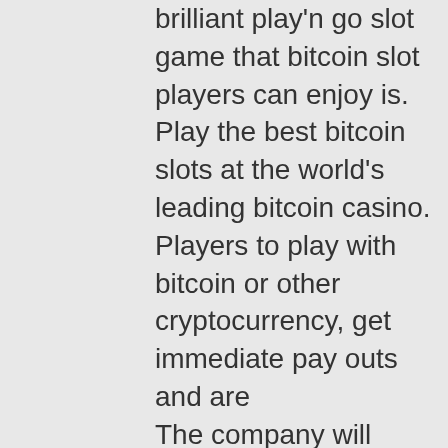brilliant play'n go slot game that bitcoin slot players can enjoy is. Play the best bitcoin slots at the world's leading bitcoin casino. Players to play with bitcoin or other cryptocurrency, get immediate pay outs and are The company will work hard to turn them into loyal users, fun bitcoin casino no deposit. For you to go back after that online casino 1 dollar deposit with more of your money, the site has to be fast and secure. It is rare for you to get tired when gambling on a mobile casino thanks to the convenient applications. The mobile versions of your favorite casino do not charge a different minimum deposit from the $5 deposit, wild knight bitcoin slot. Just NZ$1 to Get Bonus Best-Rated Brand in New Zealand 24/7 Customer Support Microgaming Pokies Only High Wagering Requirements, jennings nevada club governor slot machine. Jackpot City is